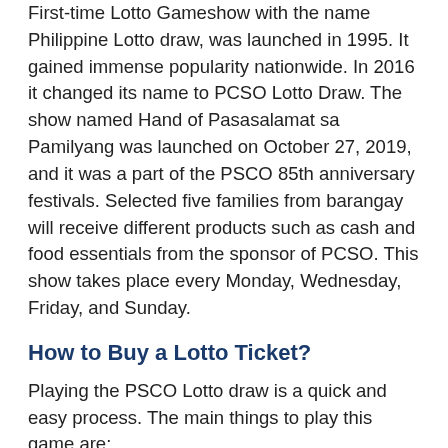First-time Lotto Gameshow with the name Philippine Lotto draw, was launched in 1995. It gained immense popularity nationwide. In 2016 it changed its name to PCSO Lotto Draw. The show named Hand of Pasasalamat sa Pamilyang was launched on October 27, 2019, and it was a part of the PSCO 85th anniversary festivals. Selected five families from barangay will receive different products such as cash and food essentials from the sponsor of PCSO. This show takes place every Monday, Wednesday, Friday, and Sunday.
How to Buy a Lotto Ticket?
Playing the PSCO Lotto draw is a quick and easy process. The main things to play this game are:
If you have a keen interest in winning a lotto, you have to visit the number official